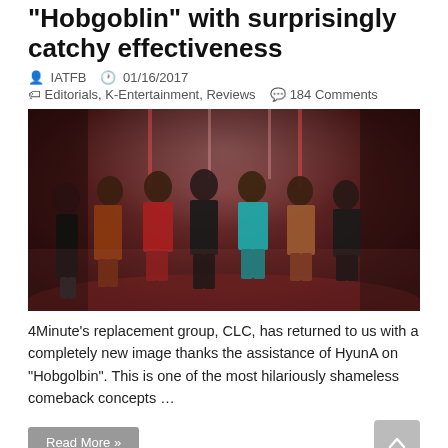"Hobgoblin" with surprisingly catchy effectiveness
IATFB   01/16/2017
Editorials, K-Entertainment, Reviews   184 Comments
[Figure (photo): Group photo of CLC members posing in a warehouse/industrial setting with red lighting, each wearing different colorful outfits]
4Minute's replacement group, CLC, has returned to us with a completely new image thanks the assistance of HyunA on "Hobgolbin". This is one of the most hilariously shameless comeback concepts …
Read More »